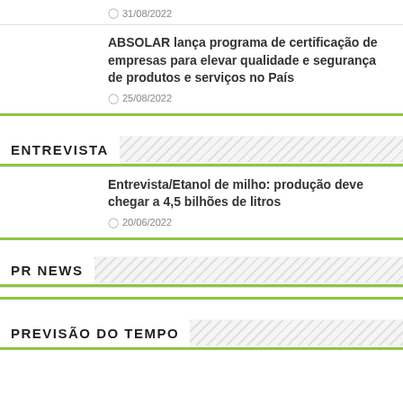31/08/2022
ABSOLAR lança programa de certificação de empresas para elevar qualidade e segurança de produtos e serviços no País
25/08/2022
ENTREVISTA
Entrevista/Etanol de milho: produção deve chegar a 4,5 bilhões de litros
20/06/2022
PR NEWS
PREVISÃO DO TEMPO